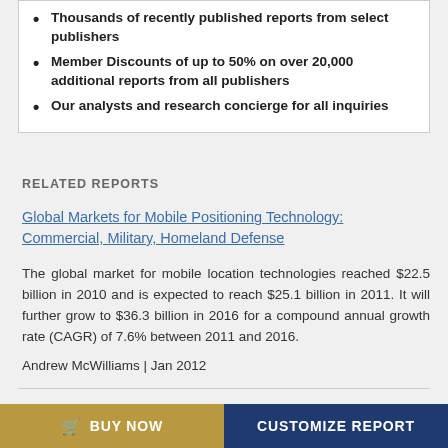Thousands of recently published reports from select publishers
Member Discounts of up to 50% on over 20,000 additional reports from all publishers
Our analysts and research concierge for all inquiries
RELATED REPORTS
Global Markets for Mobile Positioning Technology: Commercial, Military, Homeland Defense
The global market for mobile location technologies reached $22.5 billion in 2010 and is expected to reach $25.1 billion in 2011. It will further grow to $36.3 billion in 2016 for a compound annual growth rate (CAGR) of 7.6% between 2011 and 2016.
Andrew McWilliams | Jan 2012